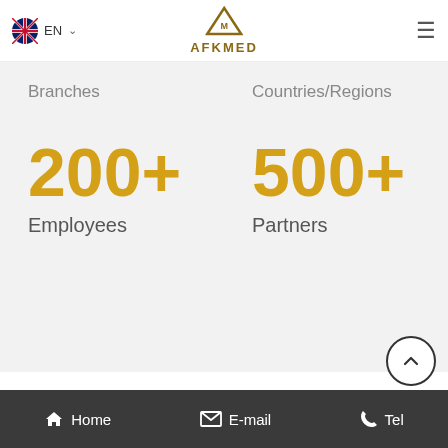AFKMED — EN navigation header
Branches
Countries/Regions
200+
Employees
500+
Partners
Home  E-mail  Tel